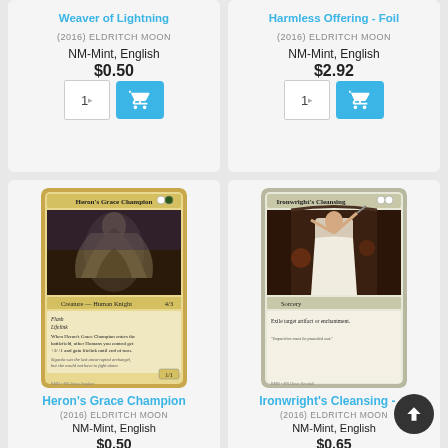Weaver of Lightning
(2016) ELDRITCH MOON
NM-Mint, English
$0.50
Harmless Offering - Foil
(2016) ELDRITCH MOON
NM-Mint, English
$2.92
[Figure (photo): Magic: The Gathering card - Heron's Grace Champion, Creature - Human Knight with Flash and Lifelink]
Heron's Grace Champion
(2016) ELDRITCH MOON
NM-Mint, English
$0.50
[Figure (photo): Magic: The Gathering card - Ironwright's Cleansing, Sorcery card with art showing a woman in white]
Ironwright's Cleansing - ...
(2016) ELDRITCH MOON
NM-Mint, English
$0.65